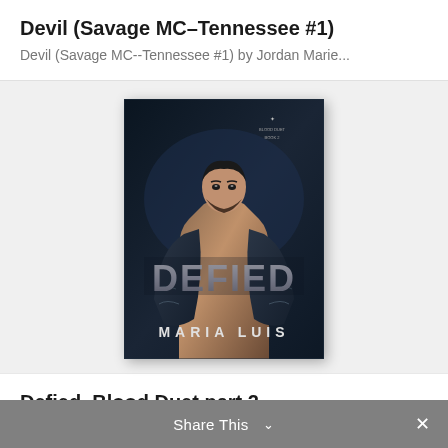Devil (Savage MC–Tennessee #1)
Devil (Savage MC--Tennessee #1) by Jordan Marie...
[Figure (photo): Book cover of 'Defied, Blood Duet Book 2' by Maria Luis. A muscular tattooed man leaning forward against a dark background, with the title 'DEFIED' in large metallic letters and 'MARIA LUIS' at the bottom.]
Defied, Blood Duet part 2
Defied (Blood Duet #2) by Maria Luis...
Share This  ✓  ×